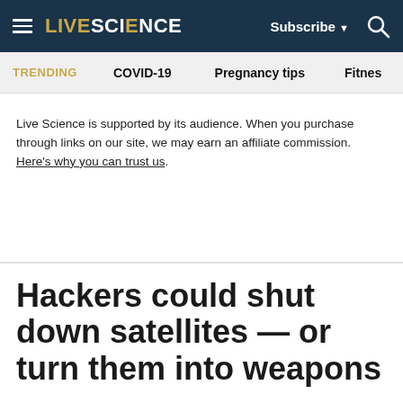LIVE SCIENCE | Subscribe | Search
TRENDING   COVID-19   Pregnancy tips   Fitnes
Live Science is supported by its audience. When you purchase through links on our site, we may earn an affiliate commission. Here's why you can trust us.
Hackers could shut down satellites — or turn them into weapons